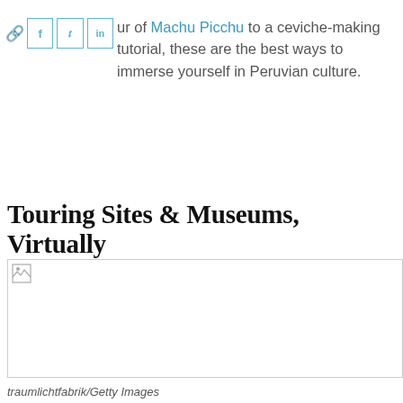From a virtual tour of Machu Picchu to a ceviche-making tutorial, these are the best ways to immerse yourself in Peruvian culture.
Touring Sites & Museums, Virtually
[Figure (photo): A partially loaded or broken image placeholder, representing a photo related to Machu Picchu or Peruvian culture.]
traumlichtfabrik/Getty Images